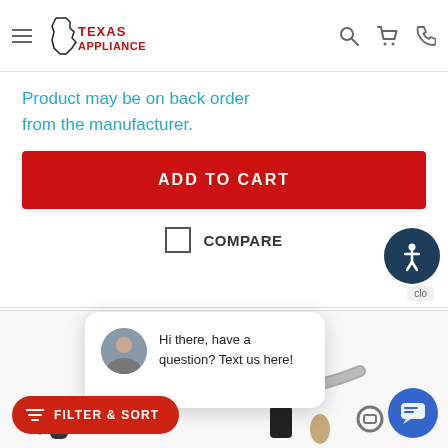Texas Appliance — navigation header with hamburger menu, logo, search, cart, and phone icons
Product may be on back order from the manufacturer.
ADD TO CART
COMPARE
[Figure (screenshot): Accessibility icon button (wheelchair figure in circle, dark blue)]
[Figure (screenshot): Chat popup with woman avatar photo and text: Hi there, have a question? Text us here!]
[Figure (photo): Product parts image showing hoses, connectors, and fittings on white background]
FILTER & SORT